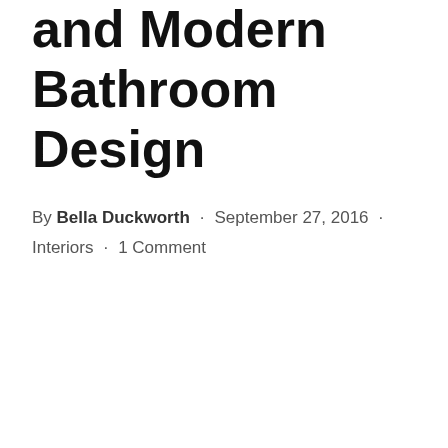and Modern Bathroom Design
By Bella Duckworth · September 27, 2016 · Interiors · 1 Comment